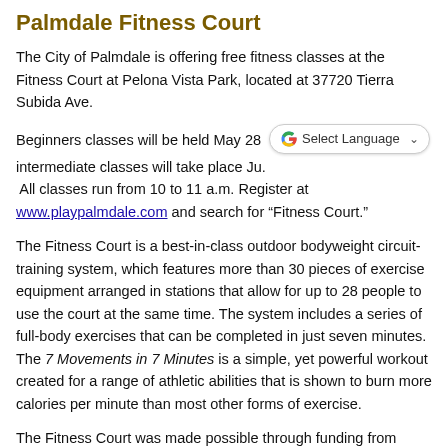Palmdale Fitness Court
The City of Palmdale is offering free fitness classes at the Fitness Court at Pelona Vista Park, located at 37720 Tierra Subida Ave.
Beginners classes will be held May 28 and intermediate classes will take place Ju[ne]. All classes run from 10 to 11 a.m. Register at www.playpalmdale.com and search for “Fitness Court.”
The Fitness Court is a best-in-class outdoor bodyweight circuit-training system, which features more than 30 pieces of exercise equipment arranged in stations that allow for up to 28 people to use the court at the same time. The system includes a series of full-body exercises that can be completed in just seven minutes. The 7 Movements in 7 Minutes is a simple, yet powerful workout created for a range of athletic abilities that is shown to burn more calories per minute than most other forms of exercise.
The Fitness Court was made possible through funding from Antelope Valley Hospital, the presenting sponsor, as